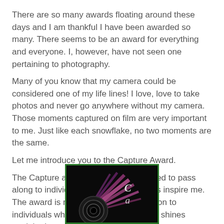There are so many awards floating around these days and I am thankful I have been awarded so many. There seems to be an award for everything and everyone. I, however, have not seen one pertaining to photography.
Many of you know that my camera could be considered one of my life lines! I love, love to take photos and never go anywhere without my camera. Those moments captured on film are very important to me. Just like each snowflake, no two moments are the same.
Let me introduce you to the Capture Award.
The Capture award is an award I created to pass along to individuals whose photographs inspire me. The award is meant to show appreciation to individuals whose love for photography shines straight through their lens.
[Figure (photo): Camera lens photo with colorful light streaks in pink and purple on a dark background, with decorative text letters 'C' and 'a' visible, framed with a green border]